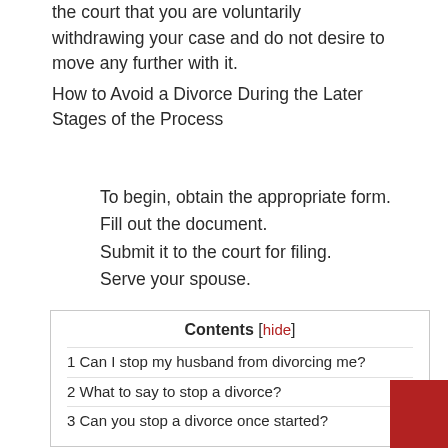the court that you are voluntarily withdrawing your case and do not desire to move any further with it.
How to Avoid a Divorce During the Later Stages of the Process
To begin, obtain the appropriate form.
Fill out the document.
Submit it to the court for filing.
Serve your spouse.
| Contents [hide] |
| 1 Can I stop my husband from divorcing me? |
| 2 What to say to stop a divorce? |
| 3 Can you stop a divorce once started? |